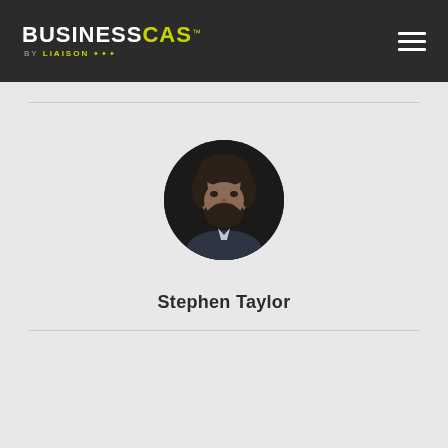BusinessCAS by LIAISON
[Figure (photo): Circular portrait photo of Stephen Taylor, a man with dark hair and beard wearing a suit, against a dark background]
Stephen Taylor